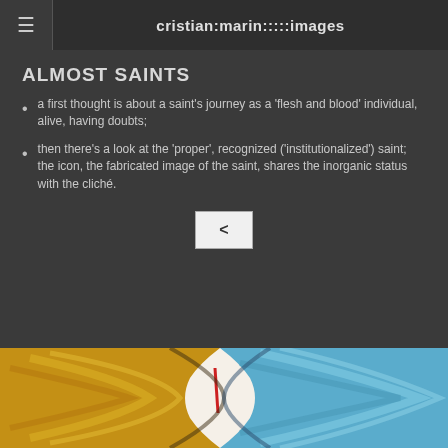cristian:marin:::::images
ALMOST SAINTS
a first thought is about a saint's journey as a 'flesh and blood' individual, alive, having doubts;
then there's a look at the 'proper', recognized ('institutionalized') saint; the icon, the fabricated image of the saint, shares the inorganic status with the cliché.
[Figure (photo): Navigation button with left arrow '<' symbol]
[Figure (photo): Painting showing an icon-like figure with golden and blue swirling brushstrokes, partially visible at the bottom of the page]